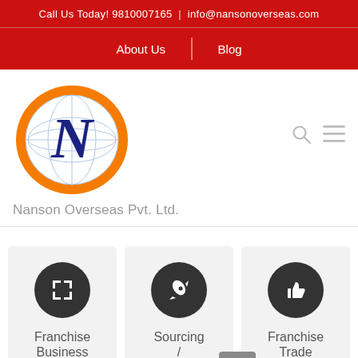Call Us Today! 9810007165  |  info@nansonoverseas.com
About Us  |  Blog
[Figure (logo): Nanson Overseas Pvt. Ltd. logo — orange oval with globe and letter N]
Nanson Overseas Pvt. Ltd.
[Figure (infographic): Three service cards: Franchise Business (expand icon), Sourcing / (rocket icon), Franchise Trade (thumbs-up icon)]